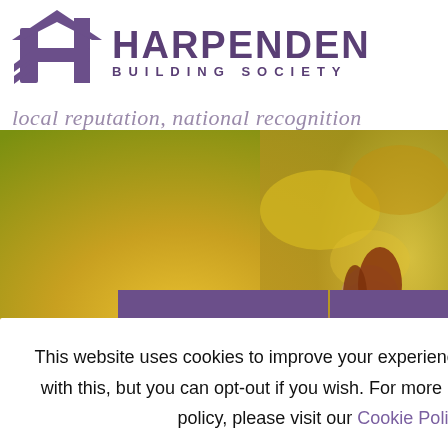[Figure (logo): Harpenden Building Society logo: purple geometric house/H shape icon on the left, with 'HARPENDEN' in large bold purple text and 'BUILDING SOCIETY' in spaced purple text below]
local reputation, national recognition
[Figure (photo): Background photo of a couple outdoors in autumn/golden light setting, woman with auburn hair smiling, warm golden bokeh background with trees]
This website uses cookies to improve your experience. We'll assume you're ok with this, but you can opt-out if you wish. For more information on our Cookie policy, please visit our Cookie Policy page.
Cookie settings
Reject
ACCEPT